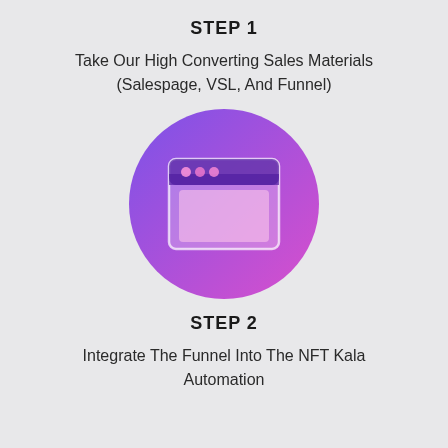STEP 1
Take Our High Converting Sales Materials (Salespage, VSL, And Funnel)
[Figure (illustration): A browser/window icon with purple header bar containing three pink circles and a pink content area, displayed inside a circular gradient background going from purple to pink/magenta]
STEP 2
Integrate The Funnel Into The NFT Kala Automation